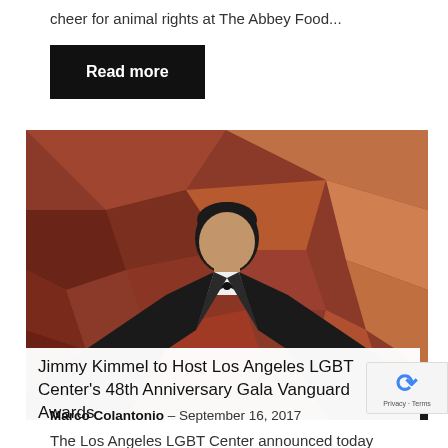cheer for animal rights at The Abbey Food...
Read more
[Figure (photo): Man in black tuxedo with bow tie standing in front of a copper/bronze geometric background]
Jimmy Kimmel to Host Los Angeles LGBT Center's 48th Anniversary Gala Vanguard Awards
Marco Colantonio · September 16, 2017
The Los Angeles LGBT Center announced today